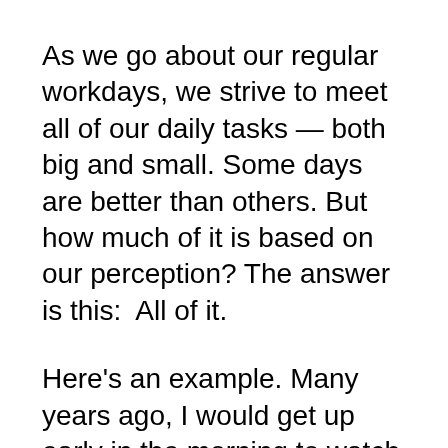As we go about our regular workdays, we strive to meet all of our daily tasks — both big and small. Some days are better than others. But how much of it is based on our perception? The answer is this:  All of it.
Here's an example. Many years ago, I would get up early in the morning to watch an aerobics workout tape. It wasn't Jane Fonda, but it was a Jane Fonda wannabe. The woman on the videotape was recorded, so she had the same words, the same expressions, and the same workouts